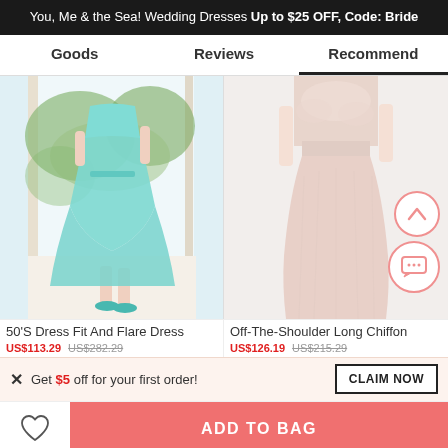You, Me & the Sea! Wedding Dresses Up to $25 OFF, Code: Bride
Goods | Reviews | Recommend
[Figure (photo): 50's style fit and flare dress in light blue/teal color, worn by a model standing near a bright doorway with greenery outside]
[Figure (photo): Off-the-shoulder long chiffon dress in blush/pink color, shown on a model from waist down]
50'S Dress Fit And Flare Dress
US$113.29   US$282.29
Off-The-Shoulder Long Chiffon
US$126.19   US$215.29
Get $5 off for your first order!
CLAIM NOW
ADD TO BAG